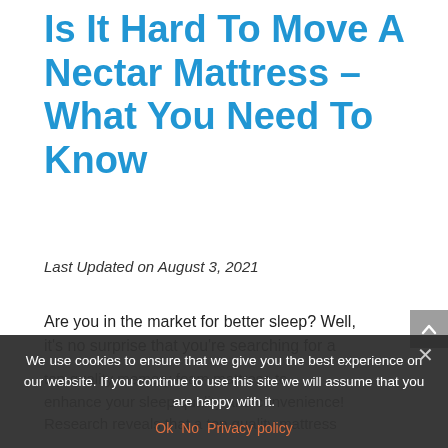Is It Hard To Move A Nectar Mattress – What You Need To Know
Last Updated on August 3, 2021
Are you in the market for better sleep? Well, it's no surprise that you're searching for a top-quality memory foam mattress to enhance your sleep quality and convenience! Research reveals that a top quality mattress
We use cookies to ensure that we give you the best experience on our website. If you continue to use this site we will assume that you are happy with it.